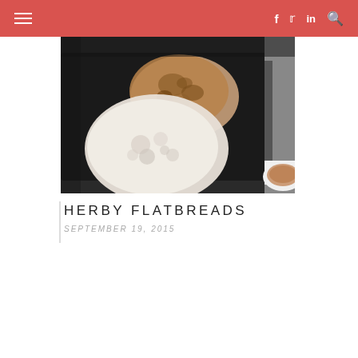≡  f  t  in  🔍
[Figure (photo): Two flatbreads cooking on a black griddle pan. One is pale and doughy (uncooked side up), the other is browned and charred. A white bowl with a cooked flatbread is visible in the lower right corner.]
HERBY FLATBREADS
SEPTEMBER 19, 2015